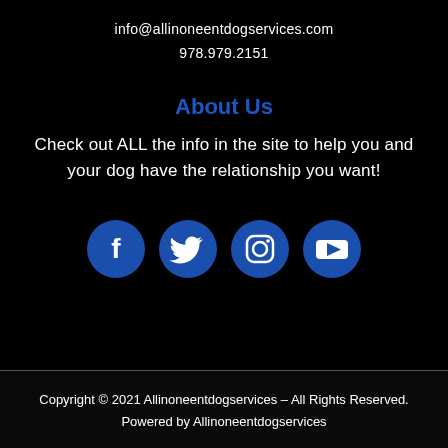info@allinoneentdogservices.com
978.979.2151
About Us
Check out ALL the info in the site to help you and your dog have the relationship you want!
[Figure (infographic): Four social media icons in dark blue circles: Facebook, Twitter, Instagram, YouTube]
Copyright © 2021 Allinoneentdogservices – All Rights Reserved.
Powered by Allinoneentdogservices